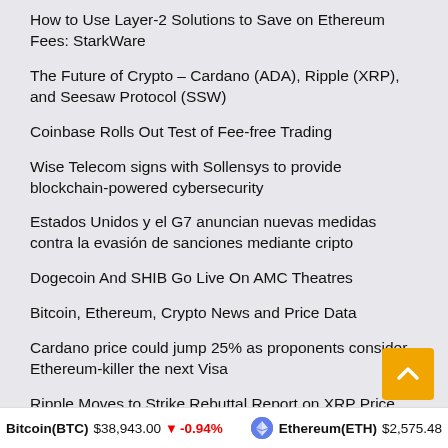How to Use Layer-2 Solutions to Save on Ethereum Fees: StarkWare
The Future of Crypto – Cardano (ADA), Ripple (XRP), and Seesaw Protocol (SSW)
Coinbase Rolls Out Test of Fee-free Trading
Wise Telecom signs with Sollensys to provide blockchain-powered cybersecurity
Estados Unidos y el G7 anuncian nuevas medidas contra la evasión de sanciones mediante cripto
Dogecoin And SHIB Go Live On AMC Theatres
Bitcoin, Ethereum, Crypto News and Price Data
Cardano price could jump 25% as proponents consider Ethereum-killer the next Visa
Ripple Moves to Strike Rebuttal Report on XRP Price
Bitcoin(BTC) $38,943.00 ↓ -0.94%   Ethereum(ETH) $2,575.48 ↓